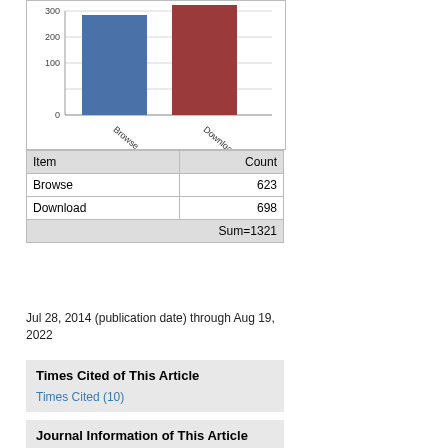[Figure (bar-chart): ]
| Item | Count |
| --- | --- |
| Browse | 623 |
| Download | 698 |
|  | Sum=1321 |
Jul 28, 2014 (publication date) through Aug 19, 2022
Times Cited of This Article
Times Cited (10)
Journal Information of This Article
Publication Name
World Journal of Gastroenterology